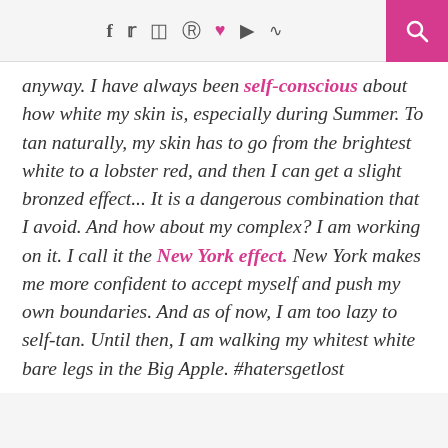Social media icons header with search button
anyway. I have always been self-conscious about how white my skin is, especially during Summer. To tan naturally, my skin has to go from the brightest white to a lobster red, and then I can get a slight bronzed effect... It is a dangerous combination that I avoid. And how about my complex? I am working on it. I call it the New York effect. New York makes me more confident to accept myself and push my own boundaries. And as of now, I am too lazy to self-tan. Until then, I am walking my whitest white bare legs in the Big Apple. #hatersgetlost